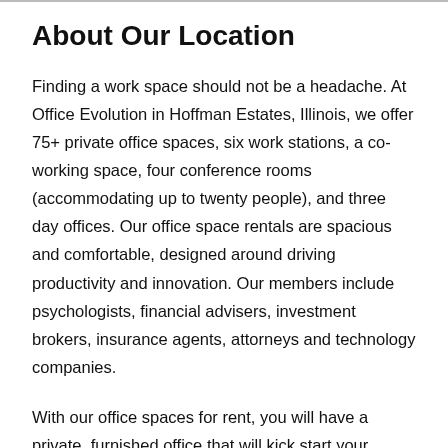About Our Location
Finding a work space should not be a headache. At Office Evolution in Hoffman Estates, Illinois, we offer 75+ private office spaces, six work stations, a co-working space, four conference rooms (accommodating up to twenty people), and three day offices. Our office space rentals are spacious and comfortable, designed around driving productivity and innovation. Our members include psychologists, financial advisers, investment brokers, insurance agents, attorneys and technology companies.
With our office spaces for rent, you will have a private, furnished office that will kick start your